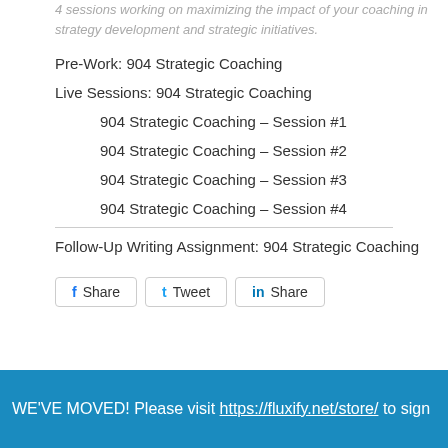4 sessions working on maximizing the impact of your coaching in strategy development and strategic initiatives.
Pre-Work: 904 Strategic Coaching
Live Sessions: 904 Strategic Coaching
904 Strategic Coaching – Session #1
904 Strategic Coaching – Session #2
904 Strategic Coaching – Session #3
904 Strategic Coaching – Session #4
Follow-Up Writing Assignment: 904 Strategic Coaching
Share  Tweet  Share
WE'VE MOVED! Please visit https://fluxify.net/store/ to sign